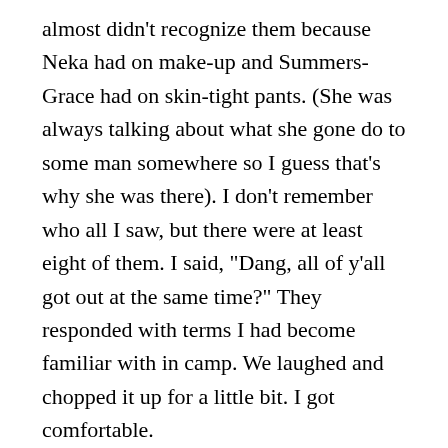almost didn't recognize them because Neka had on make-up and Summers-Grace had on skin-tight pants. (She was always talking about what she gone do to some man somewhere so I guess that's why she was there). I don't remember who all I saw, but there were at least eight of them. I said, "Dang, all of y'all got out at the same time?" They responded with terms I had become familiar with in camp. We laughed and chopped it up for a little bit. I got comfortable.
Right then my ankle monitor began vibrating non-stop. I immediately took off running looking for the nearest phone so that I could call and report to the halfway house. I needed to reassure them that I was not trying to be deviant in any way. Before I could find a phone, a Black